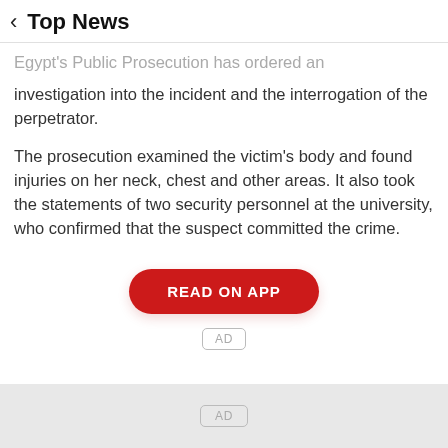Top News
Egypt's Public Prosecution has ordered an investigation into the incident and the interrogation of the perpetrator.
The prosecution examined the victim's body and found injuries on her neck, chest and other areas. It also took the statements of two security personnel at the university, who confirmed that the suspect committed the crime.
READ ON APP
AD
AD